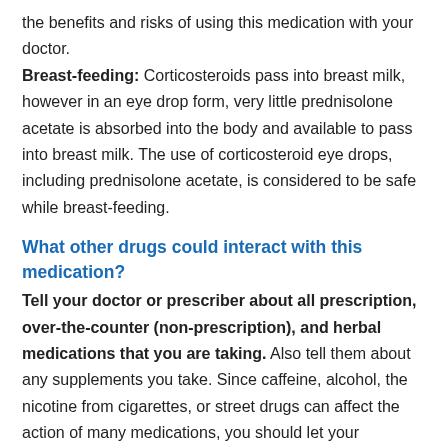the benefits and risks of using this medication with your doctor.
Breast-feeding: Corticosteroids pass into breast milk, however in an eye drop form, very little prednisolone acetate is absorbed into the body and available to pass into breast milk. The use of corticosteroid eye drops, including prednisolone acetate, is considered to be safe while breast-feeding.
What other drugs could interact with this medication?
Tell your doctor or prescriber about all prescription, over-the-counter (non-prescription), and herbal medications that you are taking. Also tell them about any supplements you take. Since caffeine, alcohol, the nicotine from cigarettes, or street drugs can affect the action of many medications, you should let your prescriber know if you use them. Depending on your specific circumstances, your doctor may want you to:
stop taking one of the medications,